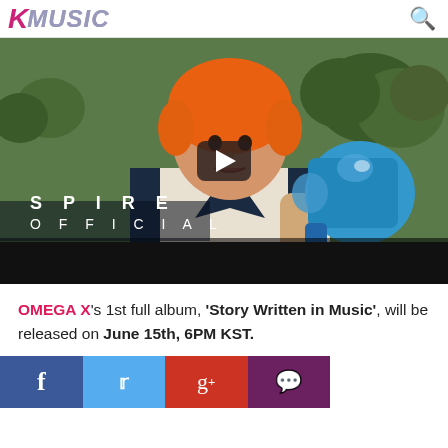KMUSIC
[Figure (screenshot): YouTube-style video thumbnail showing a young person with orange hair holding a blue megaphone/bullhorn, wearing a white cable-knit sweater with dark V-neck trim. Text overlay reads 'SPIRE OFFICIAL'. A play button is visible in the center.]
OMEGA X's 1st full album, 'Story Written in Music', will be released on June 15th, 6PM KST.
[Figure (infographic): Social share bar with four buttons: Facebook (blue), Twitter (light blue), Google+ (red), and comment/chat (purple)]